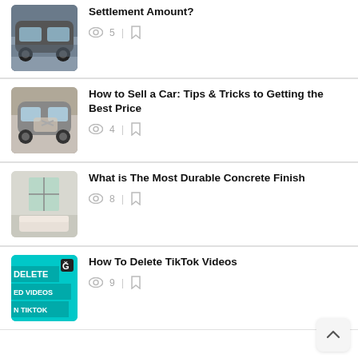Settlement Amount? | views: 5
How to Sell a Car: Tips & Tricks to Getting the Best Price | views: 4
What is The Most Durable Concrete Finish | views: 8
How To Delete TikTok Videos | views: 9